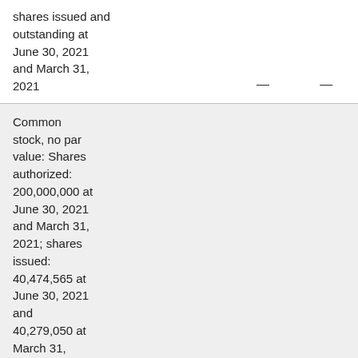shares issued and outstanding at June 30, 2021 and March 31, 2021
Common stock, no par value: Shares authorized: 200,000,000 at June 30, 2021 and March 31, 2021; shares issued: 40,474,565 at June 30, 2021 and 40,279,050 at March 31, 2021; shares